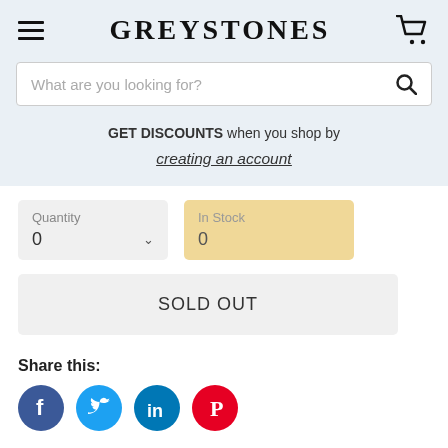GREYSTONES
What are you looking for?
GET DISCOUNTS when you shop by creating an account
Quantity 0 | In Stock 0
SOLD OUT
Share this:
[Figure (other): Social media share icons: Facebook, Twitter, LinkedIn, Pinterest]
Twelve Waterford crystal wine glasses in the discontinued